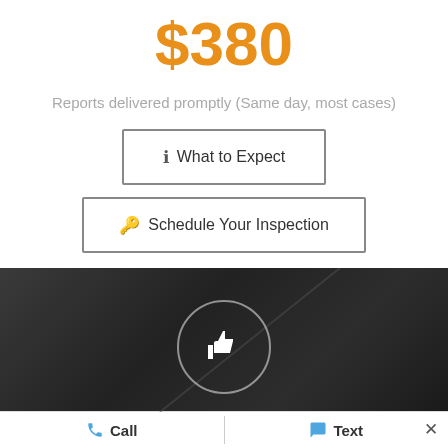$380
Reports delivered promptly (Same day, most cases)
ℹ What to Expect
🔑 Schedule Your Inspection
[Figure (photo): Dark textured background with a thumbs-up icon inside a circle]
Call
Text